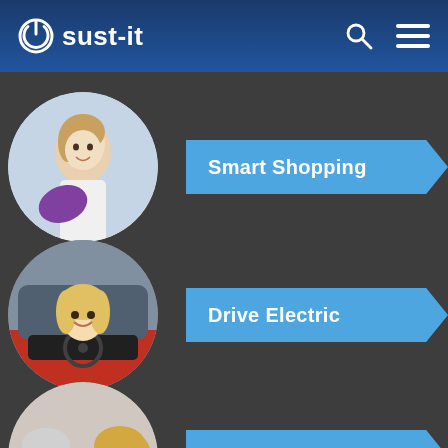sust-it
[Figure (screenshot): Circle photo of woman doing laundry/shopping with purple cloth]
Smart Shopping
[Figure (screenshot): Circle photo of blonde woman driving a red car smiling]
Drive Electric
[Figure (screenshot): Circle photo of elderly man and younger woman smiling together]
Switch Energy